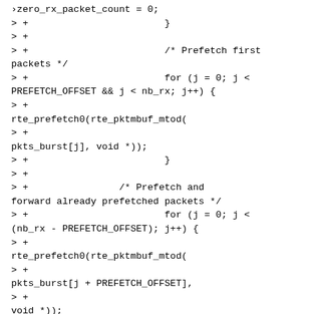>zero_rx_packet_count = 0;
> +                        }
> +
> +                        /* Prefetch first packets */
> +                        for (j = 0; j < PREFETCH_OFFSET && j < nb_rx; j++) {
> +
rte_prefetch0(rte_pktmbuf_mtod(
> +
pkts_burst[j], void *));
> +                        }
> +
> +                /* Prefetch and forward already prefetched packets */
> +                        for (j = 0; j < (nb_rx - PREFETCH_OFFSET); j++) {
> +
rte_prefetch0(rte_pktmbuf_mtod(
> +
pkts_burst[j + PREFETCH_OFFSET],
> +
void *));
> +
l3fwd_simple_forward(
> +
pkts_burst[j], portid, qconf);
> +                        }
> +
> +                        /* Forward remaining